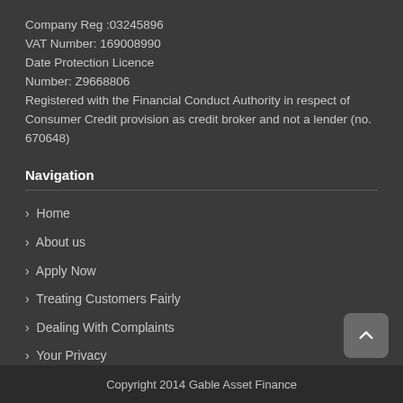Company Reg :03245896
VAT Number: 169008990
Date Protection Licence
Number: Z9668806
Registered with the Financial Conduct Authority in respect of Consumer Credit provision as credit broker and not a lender (no. 670648)
Navigation
› Home
› About us
› Apply Now
› Treating Customers Fairly
› Dealing With Complaints
› Your Privacy
Copyright 2014 Gable Asset Finance